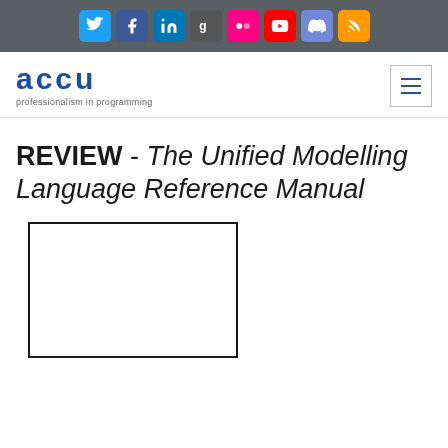Social media icons bar (Twitter, Facebook, LinkedIn, Google+, Flickr, YouTube, Discord, RSS)
[Figure (logo): ACCU logo with text 'professionalism in programming' and hamburger menu icon]
REVIEW - The Unified Modelling Language Reference Manual
[Figure (photo): Book cover image placeholder (white rectangle with black border)]